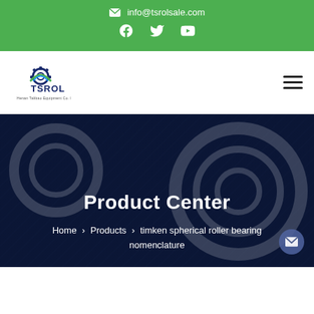✉ info@tsrolsale.com
[Figure (logo): TSROL company logo with gear icon and text 'Henan Talibao Equipment Co. Ltd']
Product Center
Home > Products > timken spherical roller bearing nomenclature